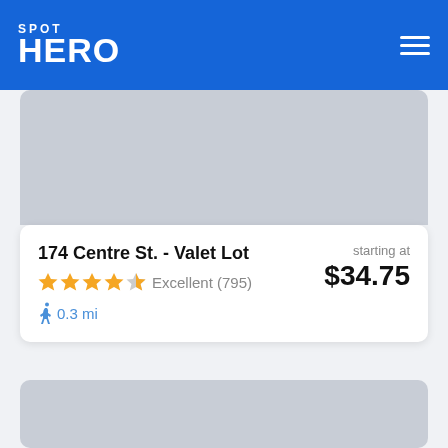SPOT HERO
[Figure (photo): Gray placeholder image area at top of listing card]
174 Centre St. - Valet Lot
Excellent (795)
0.3 mi
starting at $34.75
[Figure (photo): Gray placeholder image area for second listing card]